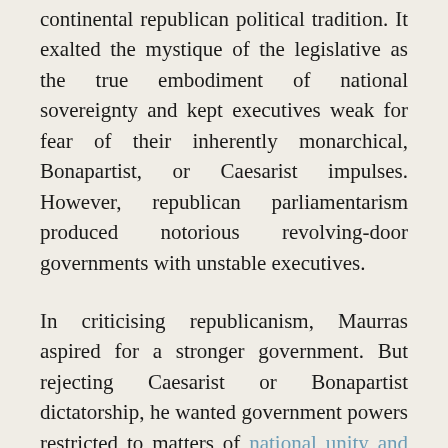continental republican political tradition. It exalted the mystique of the legislative as the true embodiment of national sovereignty and kept executives weak for fear of their inherently monarchical, Bonapartist, or Caesarist impulses. However, republican parliamentarism produced notorious revolving-door governments with unstable executives.
In criticising republicanism, Maurras aspired for a stronger government. But rejecting Caesarist or Bonapartist dictatorship, he wanted government powers restricted to matters of national unity and foreign policy. Maurras was a critic of how excessive republican parliamentarism made national defence policy incoherent, weakening France in the face of its adversaries. Maurras also drew attention to how republican parliamentarism, when combined with the